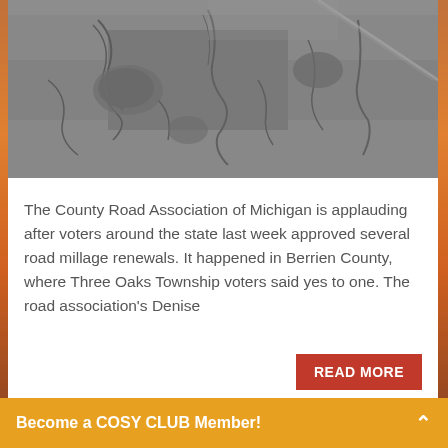[Figure (photo): Black and white close-up photograph of cracked, deteriorated road pavement surface]
The County Road Association of Michigan is applauding after voters around the state last week approved several road millage renewals. It happened in Berrien County, where Three Oaks Township voters said yes to one. The road association's Denise
Become a COSY CLUB Member!